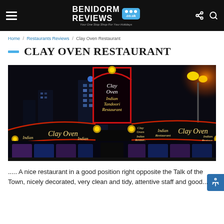Benidorm Reviews .co.uk — Your One Stop Shop For Your Holidays
Home / Restaurants Reviews / Clay Oven Restaurant
CLAY OVEN RESTAURANT
[Figure (photo): Night-time exterior photo of Clay Oven Indian Restaurant in Benidorm, showing illuminated signage with yellow trim and red outline, city lights in background, orange street light on right.]
..... A nice restaurant in a good position right opposite the Talk of the Town, nicely decorated, very clean and tidy, attentive staff and good...